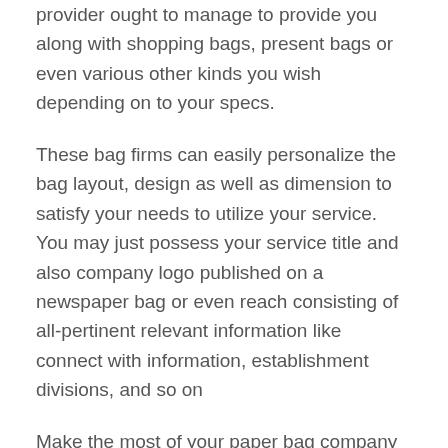provider ought to manage to provide you along with shopping bags, present bags or even various other kinds you wish depending on to your specs.
These bag firms can easily personalize the bag layout, design as well as dimension to satisfy your needs to utilize your service. You may just possess your service title and also company logo published on a newspaper bag or even reach consisting of all-pertinent relevant information like connect with information, establishment divisions, and so on
Make the most of your paper bag company partnership to further your business. Your business name on one of these bags is your mobile advertisement. It is exposure for your brand, and an announcement of your products or services. The more people know about your business, the more possibilities of clients, and